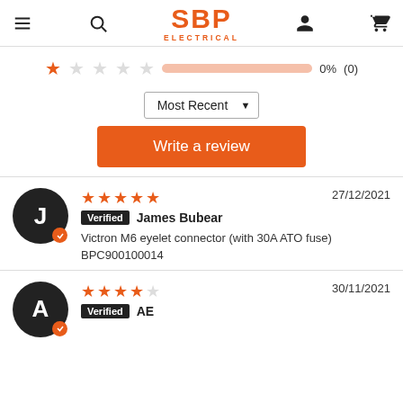SBP ELECTRICAL
[Figure (infographic): 1-star rating row: 1 filled star, 4 empty stars, pink progress bar at 0%, showing 0% (0)]
Most Recent ▼
Write a review
27/12/2021 ★★★★★ Verified James Bubear
Victron M6 eyelet connector (with 30A ATO fuse)
BPC900100014
30/11/2021 ★★★★☆ Verified AE